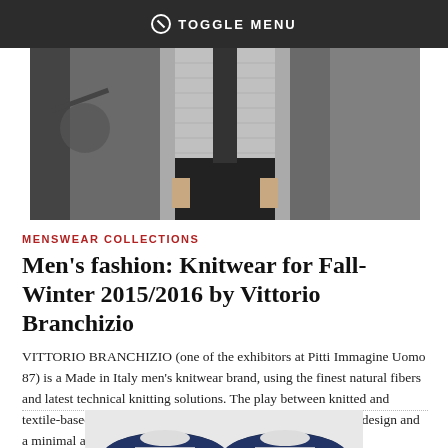TOGGLE MENU
[Figure (photo): A man wearing a grey quilted vest over dark clothing, photographed from chest down, industrial background]
MENSWEAR COLLECTIONS
Men's fashion: Knitwear for Fall-Winter 2015/2016 by Vittorio Branchizio
VITTORIO BRANCHIZIO (one of the exhibitors at Pitti Immagine Uomo 87) is a Made in Italy men's knitwear brand, using the finest natural fibers and latest technical knitting solutions. The play between knitted and textile-based sections gives life to pieces with a most complex design and a minimal apparel at its very best.
24 JANUARY, 2015
[Figure (photo): A pair of dark navy leather oxford shoes with white laces, photographed from above]